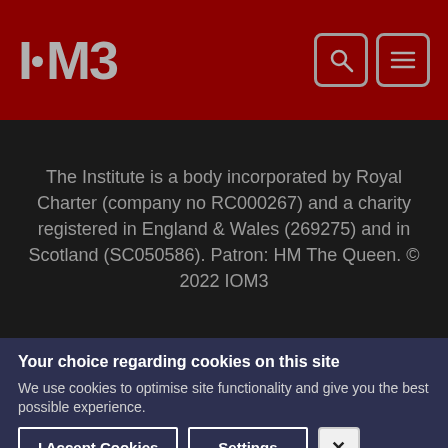I·M3
The Institute is a body incorporated by Royal Charter (company no RC000267) and a charity registered in England & Wales (269275) and in Scotland (SC050586). Patron: HM The Queen. © 2022 IOM3
Your choice regarding cookies on this site
We use cookies to optimise site functionality and give you the best possible experience.
I Accept Cookies | Settings | X